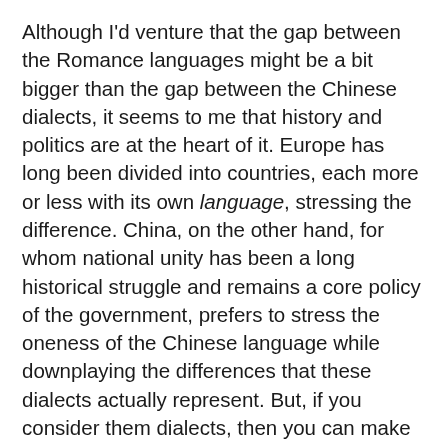Although I'd venture that the gap between the Romance languages might be a bit bigger than the gap between the Chinese dialects, it seems to me that history and politics are at the heart of it. Europe has long been divided into countries, each more or less with its own language, stressing the difference. China, on the other hand, for whom national unity has been a long historical struggle and remains a core policy of the government, prefers to stress the oneness of the Chinese language while downplaying the differences that these dialects actually represent. But, if you consider them dialects, then you can make a pretty strong argument that the Romance languages are dialects of Latin. And if you consider the Romance languages to be languages, then, vice versa, you can argue that the Chinese dialects are mostly separate languages as well.
What does a language learner take home from this? If you speak Mandarin, don't think you're going to nail down Cantonese as easily as you'd go from American English to British English just because it's called a dialect. At the same time, don't think that the differences between Portuguese and Spanish are so great just because they're called